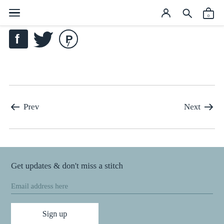Navigation header with hamburger menu and icons for user, search, and cart (0)
[Figure (other): Social media icons: Facebook, Twitter, Pinterest]
← Prev    Next →
Get updates & don't miss a stitch
Email address here
Sign up